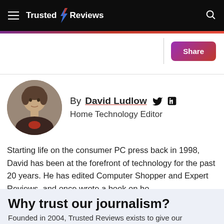Trusted Reviews
[Figure (logo): Trusted Reviews logo with lightning bolt icon on dark header bar]
[Figure (other): Share button with gradient purple-to-red background]
[Figure (photo): Circular author photo of David Ludlow]
By David Ludlow Home Technology Editor
Starting life on the consumer PC press back in 1998, David has been at the forefront of technology for the past 20 years. He has edited Computer Shopper and Expert Reviews, and once wrote a book on ho…
Why trust our journalism?
Founded in 2004, Trusted Reviews exists to give our